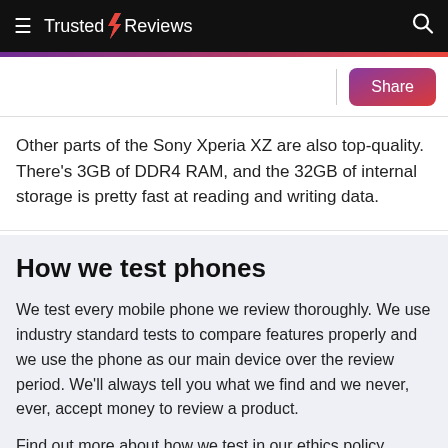Trusted Reviews
Other parts of the Sony Xperia XZ are also top-quality. There's 3GB of DDR4 RAM, and the 32GB of internal storage is pretty fast at reading and writing data.
How we test phones
We test every mobile phone we review thoroughly. We use industry standard tests to compare features properly and we use the phone as our main device over the review period. We'll always tell you what we find and we never, ever, accept money to review a product.
Find out more about how we test in our ethics policy.